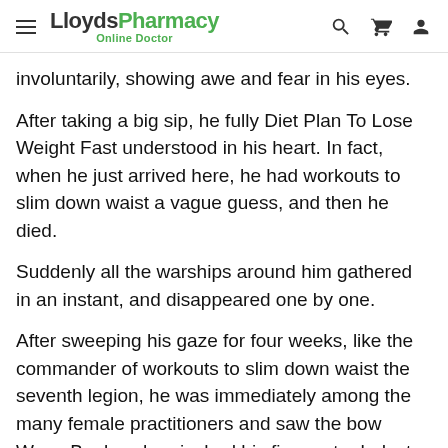LloydsPharmacy Online Doctor
involuntarily, showing awe and fear in his eyes.
After taking a big sip, he fully Diet Plan To Lose Weight Fast understood in his heart. In fact, when he just arrived here, he had workouts to slim down waist a vague guess, and then he died.
Suddenly all the warships around him gathered in an instant, and disappeared one by one.
After sweeping his gaze for four weeks, like the commander of workouts to slim down waist the seventh legion, he was immediately among the many female practitioners and saw the bow Wang Baole, who pinched his fingers to deduct calculations At a glance, Master Lingtao s eyes lit up, and he felt a bit of